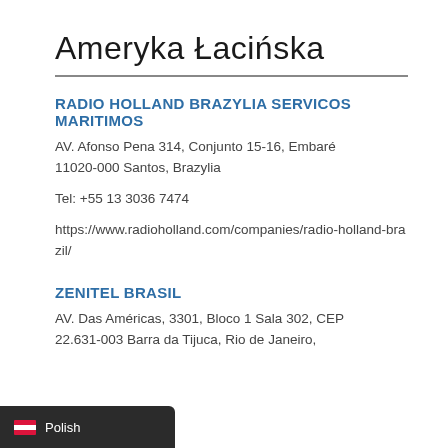Ameryka Łacińska
RADIO HOLLAND BRAZYLIA SERVICOS MARITIMOS
AV. Afonso Pena 314, Conjunto 15-16, Embaré
11020-000 Santos, Brazylia
Tel: +55 13 3036 7474
https://www.radioholland.com/companies/radio-holland-brazil/
ZENITEL BRASIL
AV. Das Américas, 3301, Bloco 1 Sala 302, CEP 22.631-003 Barra da Tijuca, Rio de Janeiro,
Polish